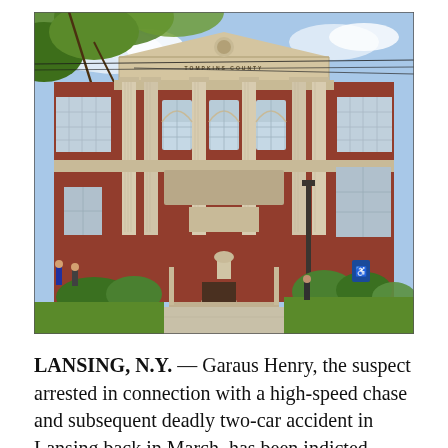[Figure (photo): Exterior photograph of a red-brick government courthouse building with white stone columns, arched windows, and a grand entrance with steps. Tree branches visible in foreground, blue sky with clouds in background.]
LANSING, N.Y. — Garaus Henry, the suspect arrested in connection with a high-speed chase and subsequent deadly two-car accident in Lansing back in March, has been indicted